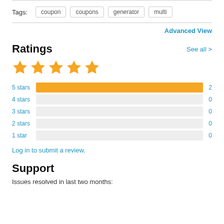Tags: coupon coupons generator multi
Advanced View
Ratings
[Figure (bar-chart): Ratings breakdown]
Log in to submit a review.
Support
Issues resolved in last two months: